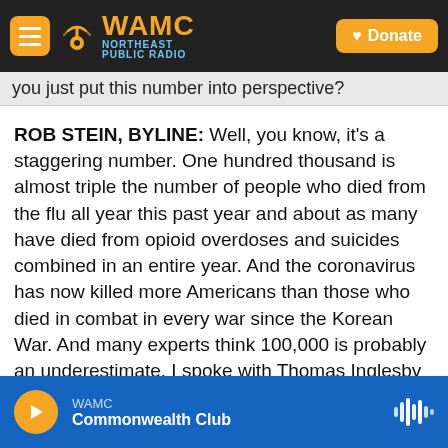WAMC NORTHEAST PUBLIC RADIO | Donate
you just put this number into perspective?
ROB STEIN, BYLINE: Well, you know, it's a staggering number. One hundred thousand is almost triple the number of people who died from the flu all year this past year and about as many have died from opioid overdoses and suicides combined in an entire year. And the coronavirus has now killed more Americans than those who died in combat in every war since the Korean War. And many experts think 100,000 is probably an underestimate. I spoke with Thomas Inglesby about this. He runs the Johns Hopkins Center for Health Security. He says that tragedies like this, it's
WAMC Commonwealth Club